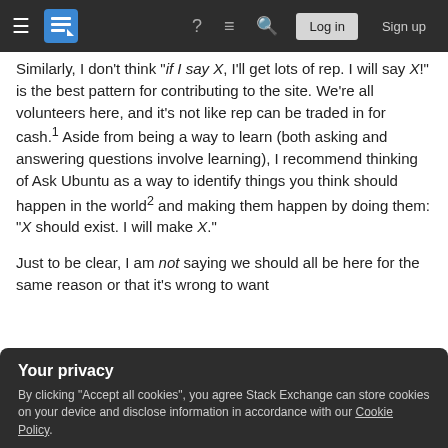Stack Exchange navigation bar with hamburger menu, logo, help, chat, search, Log in, Sign up
Similarly, I don't think "if I say X, I'll get lots of rep. I will say X!" is the best pattern for contributing to the site. We're all volunteers here, and it's not like rep can be traded in for cash.¹ Aside from being a way to learn (both asking and answering questions involve learning), I recommend thinking of Ask Ubuntu as a way to identify things you think should happen in the world² and making them happen by doing them: "X should exist. I will make X."
Just to be clear, I am not saying we should all be here for the same reason or that it's wrong to want
Your privacy
By clicking "Accept all cookies", you agree Stack Exchange can store cookies on your device and disclose information in accordance with our Cookie Policy.
answer questions about topics that I'm actively